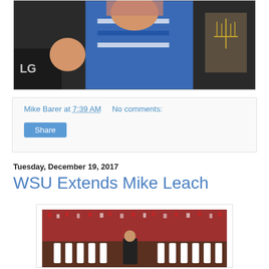[Figure (photo): Photo of a stuffed doll or toy dressed in blue Jewish-themed clothing with a tallit and menorah visible in background]
Mike Barer at 7:39 AM    No comments:
[Figure (other): Share button]
Tuesday, December 19, 2017
WSU Extends Mike Leach
[Figure (photo): Photo of a man (Mike Leach) standing in front of a large crowd at a football stadium]